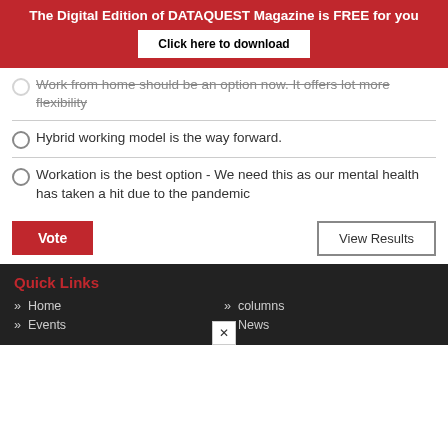The Digital Edition of DATAQUEST Magazine is FREE for you
Click here to download
Work from home should be an option now. It offers lot more flexibility
Hybrid working model is the way forward.
Workation is the best option - We need this as our mental health has taken a hit due to the pandemic
Vote
View Results
Quick Links
» Home
» Events
» columns
» News